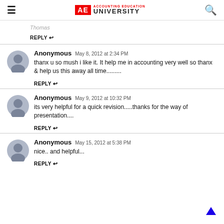AE ACCOUNTING EDUCATION UNIVERSITY
Thomas
REPLY
Anonymous May 8, 2012 at 2:34 PM
thanx u so mush i like it. It help me in accounting very well so thanx & help us this away all time.........
REPLY
Anonymous May 9, 2012 at 10:32 PM
its very helpful for a quick revision.....thanks for the way of presentation....
REPLY
Anonymous May 15, 2012 at 5:38 PM
nice.. and helpful...
REPLY